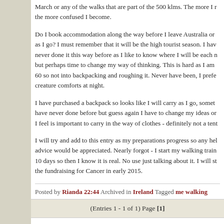March or any of the walks that are part of the 500 klms. The more I r the more confused I become.
Do I book accommodation along the way before I leave Australia or as I go? I must remember that it will be the high tourist season. I hav never done it this way before as I like to know where I will be each n but perhaps time to change my way of thinking. This is hard as I am 60 so not into backpacking and roughing it. Never have been, I prefe creature comforts at night.
I have purchased a backpack so looks like I will carry as I go, somet have never done before but guess again I have to change my ideas or I feel is important to carry in the way of clothes - definitely not a ten
I will try and add to this entry as my preparations progress so any hel advice would be appreciated. Nearly forgot - I start my walking train 10 days so then I know it is real. No use just talking about it. I will st the fundraising for Cancer in early 2015.
Posted by Rianda 22:44 Archived in Ireland Tagged me walking countryside photography cancer Comments (31)
(Entries 1 - 1 of 1) Page [1]